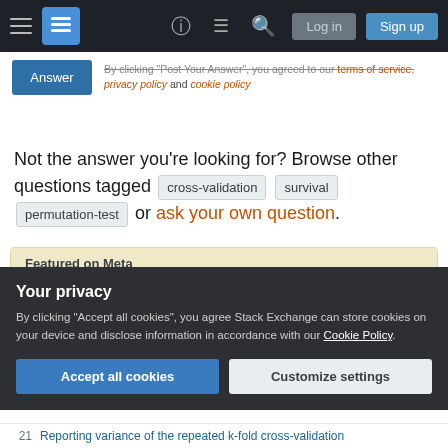Stack Exchange navigation bar with hamburger menu, logo, help, chat, search, Log in, Sign up buttons
By clicking "Post Your Answer", you agreed to our terms of service, privacy policy and cookie policy
Not the answer you're looking for? Browse other questions tagged cross-validation survival permutation-test or ask your own question.
Featured on Meta
Planned maintenance scheduled for Tuesday, August 23, 2022 at 00:00-03:00 AM...
Your privacy
By clicking "Accept all cookies", you agree Stack Exchange can store cookies on your device and disclose information in accordance with our Cookie Policy.
Accept all cookies   Customize settings
21  Reporting variance of the repeated k-fold cross-validation